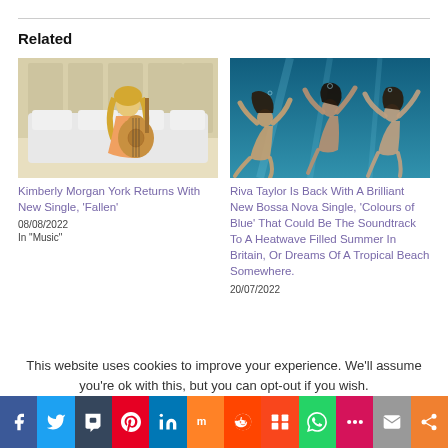Related
[Figure (photo): Kimberly Morgan York sitting with guitar on sofa]
Kimberly Morgan York Returns With New Single, ‘Fallen’
08/08/2022
In “Music”
[Figure (photo): Three women swimming underwater in blue water]
Riva Taylor Is Back With A Brilliant New Bossa Nova Single, ‘Colours of Blue’ That Could Be The Soundtrack To A Heatwave Filled Summer In Britain, Or Dreams Of A Tropical Beach Somewhere.
20/07/2022
This website uses cookies to improve your experience. We'll assume you're ok with this, but you can opt-out if you wish.
f  t  t  p  in  m  reddit  icon  whatsapp  mm  email  share